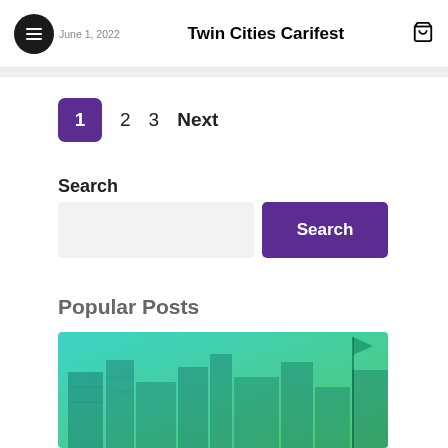June 1, 2022  Twin Cities Carifest
1  2  3  Next
Search
Popular Posts
[Figure (photo): City skyline with teal/green gradient overlay]